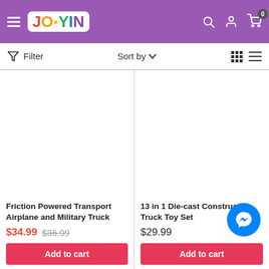JOYIN - online toy store header with filter bar
[Figure (screenshot): Product listing: Friction Powered Transport Airplane and Military Truck - sale price $34.99, original $36.99. Add to cart button.]
[Figure (screenshot): Product listing: 13 in 1 Die-cast Construction Truck Toy Set - price $29.99. Add to cart button.]